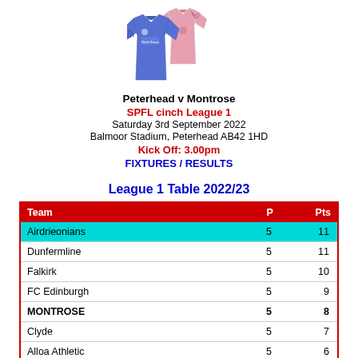[Figure (illustration): Two football jerseys overlapping: a blue Peterhead kit on the left and a pink Montrose kit on the right]
Peterhead v Montrose
SPFL cinch League 1
Saturday 3rd September 2022
Balmoor Stadium, Peterhead AB42 1HD
Kick Off: 3.00pm
FIXTURES / RESULTS
League 1 Table 2022/23
| Team | P | Pts |
| --- | --- | --- |
| Airdrieonians | 5 | 11 |
| Dunfermline | 5 | 11 |
| Falkirk | 5 | 10 |
| FC Edinburgh | 5 | 9 |
| MONTROSE | 5 | 8 |
| Clyde | 5 | 7 |
| Alloa Athletic | 5 | 6 |
| Queen of the South | 5 | 5 |